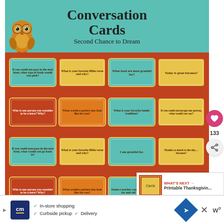Conversation Cards Second Chance to Dream
[Figure (illustration): Decorative owl illustration on the left side of the header]
[Figure (screenshot): Grid of colorful conversation starter cards with questions like: If you could note pass in the next hour, what type of book would you pick?, What is your favorite Bible verse and why?, What food are most grateful for?, Today is great because, Who is one person you consider to be a hero? Why?, What would a perfect day look like for you?, What is your favorite family tradition?, If you could encourage one person, what would you say?, I am grateful for, Thanks so much to the day because, Name a teacher you are grateful for and tell why.]
WHAT'S NEXT → Printable Thanksgivin...
In-store shopping  Curbside pickup  Delivery